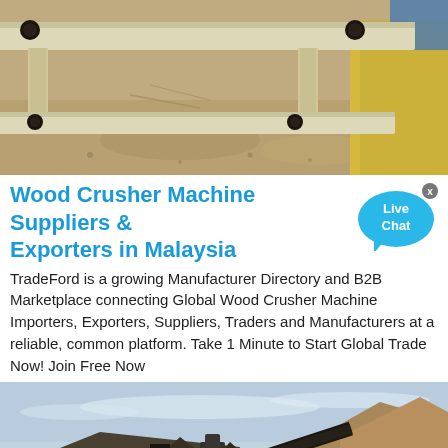[Figure (photo): Close-up photo of an industrial equipment shelf or frame structure, beige/cream colored metal, with dark bolts, sitting on a sandy/gravelly surface]
Wood Crusher Machine Suppliers & Exporters in Malaysia
TradeFord is a growing Manufacturer Directory and B2B Marketplace connecting Global Wood Crusher Machine Importers, Exporters, Suppliers, Traders and Manufacturers at a reliable, common platform. Take 1 Minute to Start Global Trade Now! Join Free Now
[Figure (photo): Industrial mining or crushing facility with machinery, conveyors, and large piles of material against a hillside, photographed during daytime with partly cloudy sky]